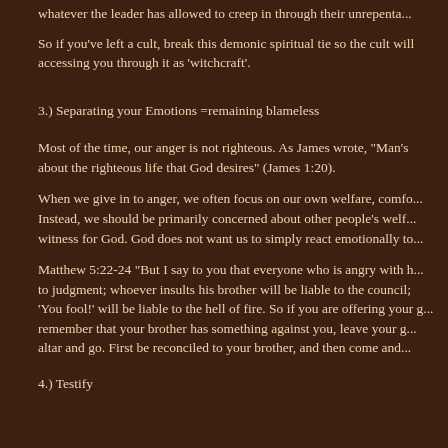whatever the leader has allowed to creep in through their unrepenta...
So if you've left a cult, break this demonic spiritual tie so the cult will accessing you through it as 'witchcraft'.
3.) Separating your Emotions =remaining blameless
Most of the time, our anger is not righteous. As James wrote, "Man's about the righteous life that God desires" (James 1:20).
When we give in to anger, we often focus on our own welfare, comfo... Instead, we should be primarily concerned about other people's welf... witness for God. God does not want us to simply react emotionally to...
Matthew 5:22-24 "But I say to you that everyone who is angry with h... to judgment; whoever insults his brother will be liable to the council; 'You fool!' will be liable to the hell of fire. So if you are offering your g... remember that your brother has something against you, leave your g... altar and go. First be reconciled to your brother, and then come and...
4.) Testify